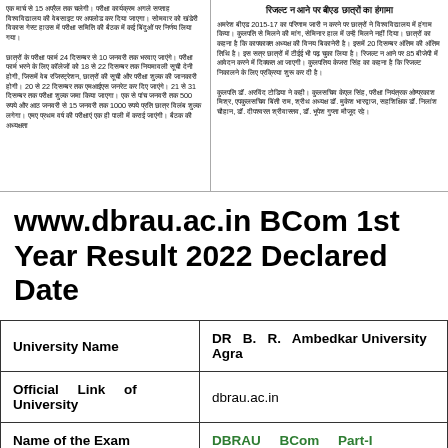Hindi newspaper article column left - exam schedule and fee details
रिजल्ट न आने पर बीएड छात्रों का हंगामा
Hindi newspaper article column right - BEd students result protest details
www.dbrau.ac.in BCom 1st Year Result 2022 Declared Date
| Field | Value |
| --- | --- |
| University Name | DR B. R. Ambedkar University Agra |
| Official Link of University | dbrau.ac.in |
| Name of the Exam | DBRAU BCom Part-I |